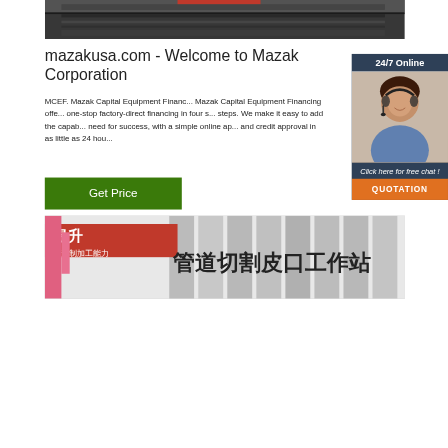[Figure (photo): Close-up photo of industrial machinery or CNC equipment, dark metallic tones]
mazakusa.com - Welcome to Mazak Corporation
MCEF. Mazak Capital Equipment Financing. Mazak Capital Equipment Financing offers one-stop factory-direct financing in four simple steps. We make it easy to add the capability you need for success, with a simple online application and credit approval in as little as 24 hours.
[Figure (photo): Customer service representative with headset, smiling, with 24/7 Online banner and Click here for free chat / QUOTATION button overlay]
[Figure (photo): Photo of industrial building exterior with Chinese text signage (pipe cutting work station)]